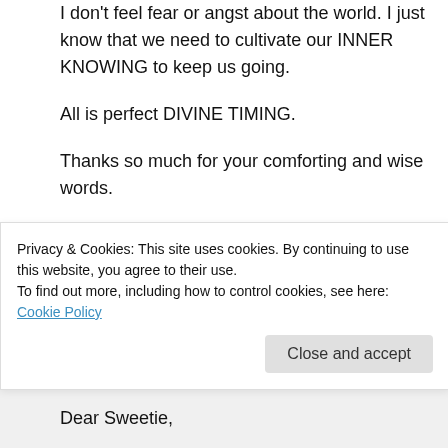I don't feel fear or angst about the world. I just know that we need to cultivate our INNER KNOWING to keep us going.
All is perfect DIVINE TIMING.
Thanks so much for your comforting and wise words.
love you!!!
★ Liked by 2 people
↪ Reply
Privacy & Cookies: This site uses cookies. By continuing to use this website, you agree to their use.
To find out more, including how to control cookies, see here: Cookie Policy
Close and accept
Dear Sweetie,